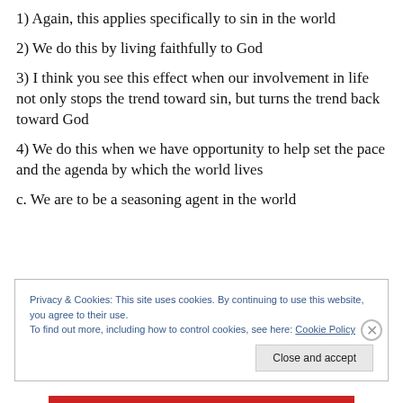1) Again, this applies specifically to sin in the world
2) We do this by living faithfully to God
3) I think you see this effect when our involvement in life not only stops the trend toward sin, but turns the trend back toward God
4) We do this when we have opportunity to help set the pace and the agenda by which the world lives
c. We are to be a seasoning agent in the world
Privacy & Cookies: This site uses cookies. By continuing to use this website, you agree to their use.
To find out more, including how to control cookies, see here: Cookie Policy
Close and accept